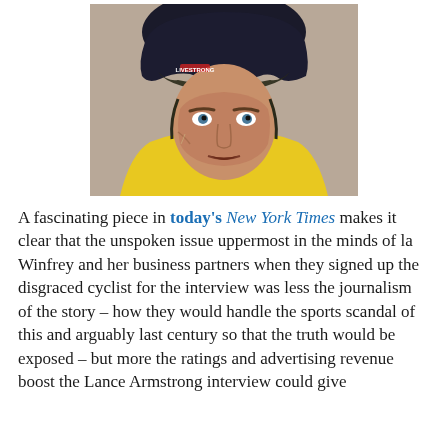[Figure (photo): Close-up photo of a male cyclist wearing a yellow jersey and a dark helmet with visor, sweating, looking intently at the camera.]
A fascinating piece in today's New York Times makes it clear that the unspoken issue uppermost in the minds of la Winfrey and her business partners when they signed up the disgraced cyclist for the interview was less the journalism of the story – how they would handle the sports scandal of this and arguably last century so that the truth would be exposed – but more the ratings and advertising revenue boost the Lance Armstrong interview could give